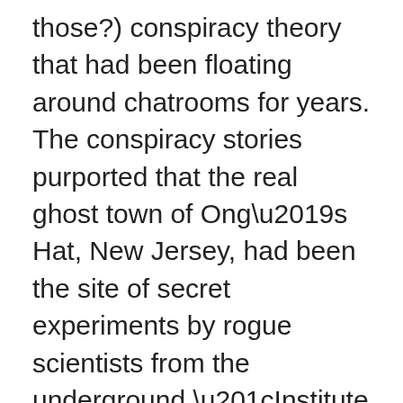those?) conspiracy theory that had been floating around chatrooms for years. The conspiracy stories purported that the real ghost town of Ong’s Hat, New Jersey, had been the site of secret experiments by rogue scientists from the underground “Institute of Chaos” who opened an interdimensional portal – using a machine dubbed “The Egg” – through which of the